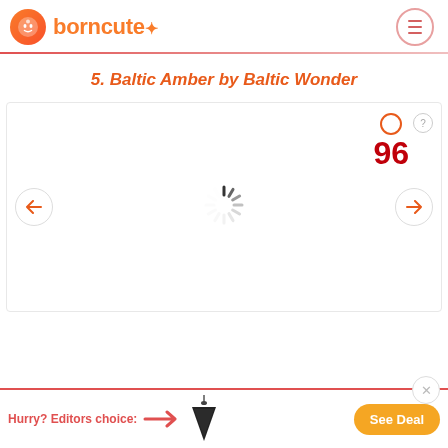borncute
5. Baltic Amber by Baltic Wonder
[Figure (screenshot): Product card area with score badge showing 96, loading spinner in center, left and right navigation arrows]
Hurry? Editors choice:
[Figure (photo): Black triangular amber teething necklace pendant]